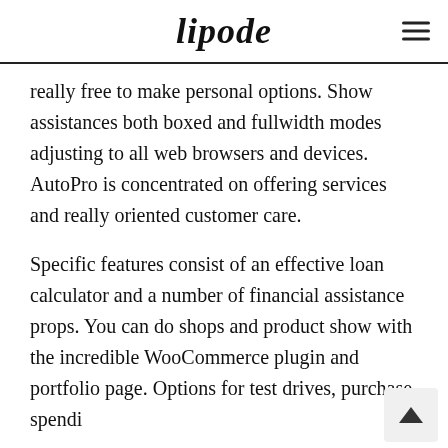lipode
really free to make personal options. Show assistances both boxed and fullwidth modes adjusting to all web browsers and devices. AutoPro is concentrated on offering services and really oriented customer care.
Specific features consist of an effective loan calculator and a number of financial assistance props. You can do shops and product show with the incredible WooCommerce plugin and portfolio page. Options for test drives, purchase spendi…